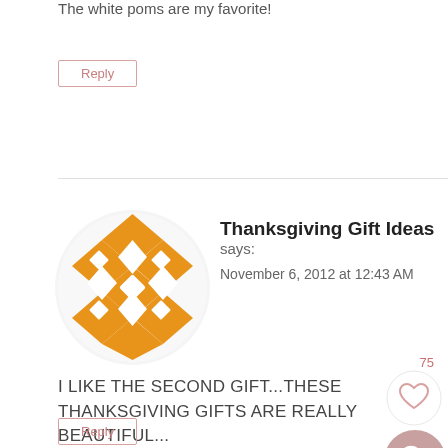The white poms are my favorite!
Reply
Thanksgiving Gift Ideas says:
November 6, 2012 at 12:43 AM
I LIKE THE SECOND GIFT...THESE THANKSGIVING GIFTS ARE REALLY BEAUTIFUL...
Reply
75
How2home says: